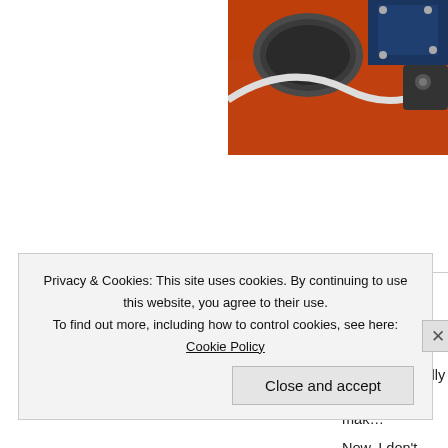[Figure (photo): Partial photo of electronic guitar components on an orange body, showing cables and hardware, cropped at top right.]
[Figure (illustration): Avatar icon: dark red background with a green downward-pointing triangle face icon.]
Dennis
May 14, 2014 at 3:49 pm
That thing really looks bad. It mak... cartoonish.
Now, I don't particularly mind the s... sound was rather annoying. Far to... someone scream at you for 2 hou...
Privacy & Cookies: This site uses cookies. By continuing to use this website, you agree to their use.
To find out more, including how to control cookies, see here: Cookie Policy
Close and accept